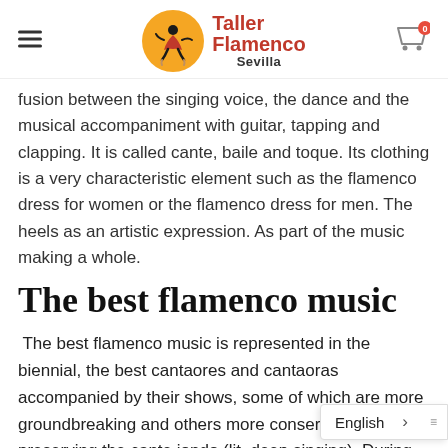Taller Flamenco Sevilla
fusion between the singing voice, the dance and the musical accompaniment with guitar, tapping and clapping. It is called cante, baile and toque. Its clothing is a very characteristic element such as the flamenco dress for women or the flamenco dress for men. The heels as an artistic expression. As part of the music making a whole.
The best flamenco music
The best flamenco music is represented in the biennial, the best cantaores and cantaoras accompanied by their shows, some of which are more groundbreaking and others more conservative, preserving the cante jondo (lit. deep singing). During more than twenty days you will be able to enjoy this art that will flood the city in more than twelve points. Flamenco is an art that ca… is